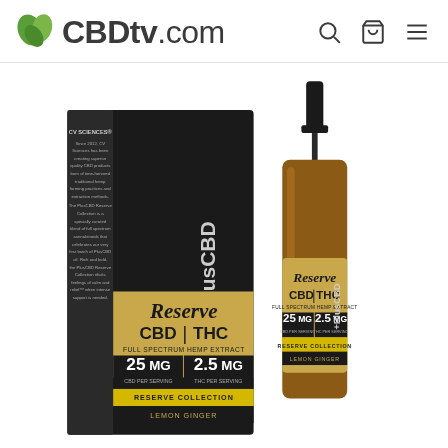[Figure (logo): CBDtv.com logo with green leaf icon on the left and dark gray bold text reading CBDtv.com, accompanied by search, cart, and hamburger menu icons on the right]
[Figure (photo): Product photo showing PlusCBD Reserve Collection CBD|THC Full Spectrum Hemp Extract oil in Lemon Ginger flavor, 25 MG CBD per serving and 2.5 MG THC per serving. Shows both the black product box and a glass amber dropper/spray bottle side by side on a white background.]